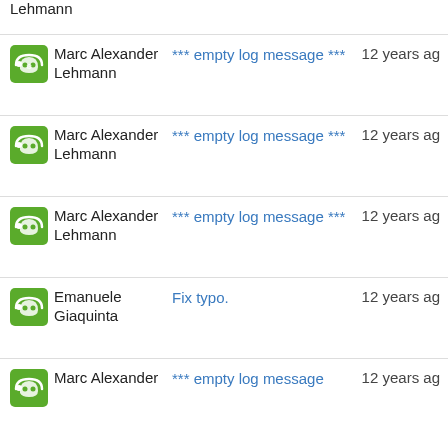Lehmann
Marc Alexander Lehmann *** empty log message *** 12 years ago
Marc Alexander Lehmann *** empty log message *** 12 years ago
Marc Alexander Lehmann *** empty log message *** 12 years ago
Emanuele Giaquinta Fix typo. 12 years ago
Marc Alexander *** empty log message 12 years ago